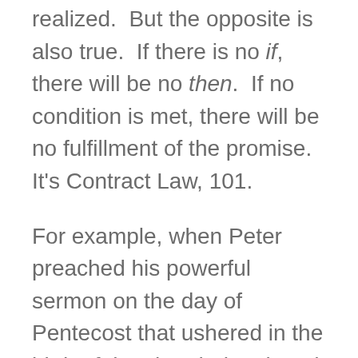realized. But the opposite is also true. If there is no if, there will be no then. If no condition is met, there will be no fulfillment of the promise. It's Contract Law, 101.
For example, when Peter preached his powerful sermon on the day of Pentecost that ushered in the birth of the church, he closed his message with an if/then promise. Let's look at this in context. First, Peter concludes his message with a statement about